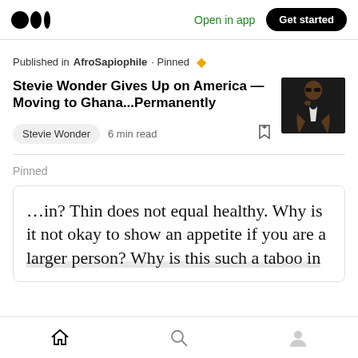Medium app header — Open in app | Get started
Published in AfroSapiophile · Pinned
Stevie Wonder Gives Up on America — Moving to Ghana...Permanently
Stevie Wonder  6 min read
[Figure (photo): Photo of Stevie Wonder wearing sunglasses and dark jacket]
Pinned
…in? Thin does not equal healthy. Why is it not okay to show an appetite if you are a larger person? Why is this such a taboo in
Home | Search | Profile